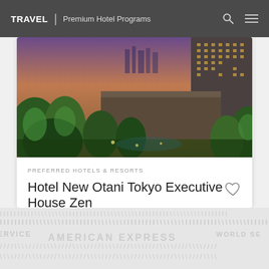TRAVEL | Premium Hotel Programs
[Figure (photo): Aerial dusk view of Hotel New Otani Tokyo with lush Japanese gardens lit in green, hotel towers in background against pink-purple sunset sky]
PREFERRED HOTELS & RESORTS
Hotel New Otani Tokyo Executive House Zen
Tokyo, Japan
[Figure (logo): American Express World Service watermark pattern in light grey across footer band]